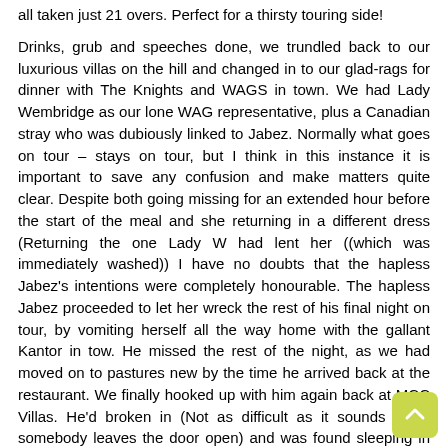all taken just 21 overs. Perfect for a thirsty touring side!

Drinks, grub and speeches done, we trundled back to our luxurious villas on the hill and changed in to our glad-rags for dinner with The Knights and WAGS in town. We had Lady Wembridge as our lone WAG representative, plus a Canadian stray who was dubiously linked to Jabez. Normally what goes on tour – stays on tour, but I think in this instance it is important to save any confusion and make matters quite clear. Despite both going missing for an extended hour before the start of the meal and she returning in a different dress (Returning the one Lady W had lent her ((which was immediately washed)) I have no doubts that the hapless Jabez's intentions were completely honourable. The hapless Jabez proceeded to let her wreck the rest of his final night on tour, by vomiting herself all the way home with the gallant Kantor in tow. He missed the rest of the night, as we had moved on to pastures new by the time he arrived back at the restaurant. We finally hooked up with him again back at MCC Villas. He'd broken in (Not as difficult as it sounds when somebody leaves the door open) and was found sleeping in Khalid's bed. If that isn't flirting with danger, nothing is!?